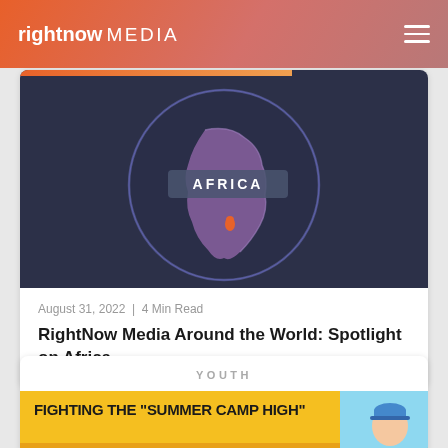rightnow MEDIA
[Figure (screenshot): Globe illustration with Africa highlighted in purple/pink tones against dark background, with 'AFRICA' text label and orange location pin marker. Orange bar at top left.]
August 31, 2022 | 4 Min Read
RightNow Media Around the World: Spotlight on Africa
YOUTH
[Figure (illustration): Illustrated banner reading 'FIGHTING THE "SUMMER CAMP HIGH"' with cartoon character wearing blue baseball cap on yellow/orange background.]